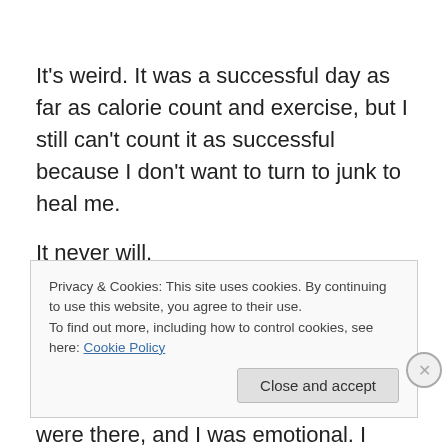It's weird. It was a successful day as far as calorie count and exercise, but I still can't count it as successful because I don't want to turn to junk to heal me.
It never will.
~ January 14, 2013
Yesterday's little compromise turned into slightly bigger compromises today. I ate chips just because they were there, and I was emotional. I went over calorie count.
Privacy & Cookies: This site uses cookies. By continuing to use this website, you agree to their use. To find out more, including how to control cookies, see here: Cookie Policy
Close and accept